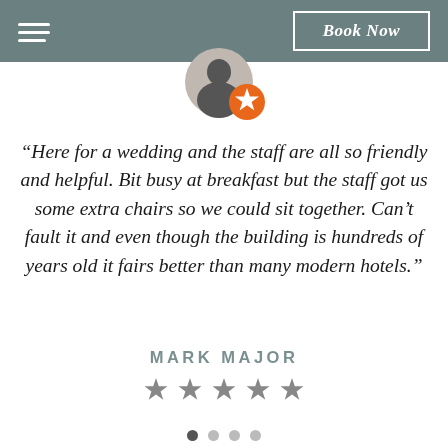Book Now
[Figure (photo): Circular profile photo of a person with an orange badge/star icon overlaid at bottom-right]
“Here for a wedding and the staff are all so friendly and helpful. Bit busy at breakfast but the staff got us some extra chairs so we could sit together. Can’t fault it and even though the building is hundreds of years old it fairs better than many modern hotels.”
MARK MAJOR
[Figure (other): Five grey star rating icons]